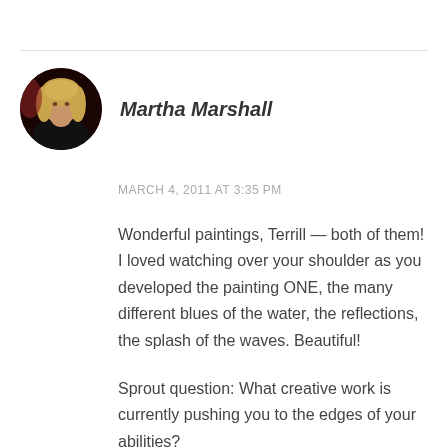[Figure (photo): Circular avatar photo of Martha Marshall, a woman with blonde hair wearing dark clothing against a dark background.]
Martha Marshall
MARCH 4, 2011 AT 3:35 PM
Wonderful paintings, Terrill — both of them! I loved watching over your shoulder as you developed the painting ONE, the many different blues of the water, the reflections, the splash of the waves. Beautiful!
Sprout question: What creative work is currently pushing you to the edges of your abilities?
Answer: Simply thinking about the next big